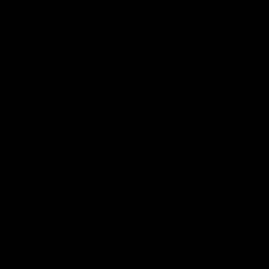[Figure (photo): A completely black image with no visible content or distinguishable features.]